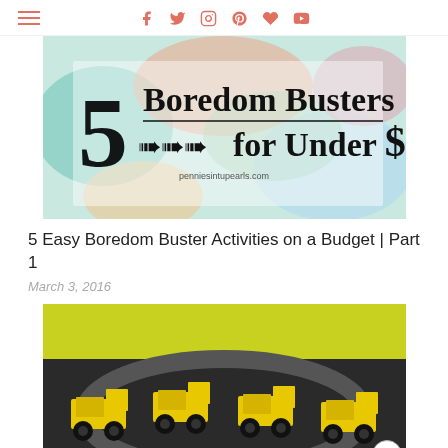Navigation menu and social icons (Facebook, Twitter, Instagram, Pinterest, Bloglovin, YouTube)
[Figure (photo): Banner image with colorful painted background, text reading '5 Boredom Busters for Under $5' with arrow chevrons and penniesintupearls.com watermark]
5 Easy Boredom Buster Activities on a Budget | Part 1
March 3, 2016
[Figure (photo): Photo showing yellow paper dump trucks decorations on dark background, construction party theme]